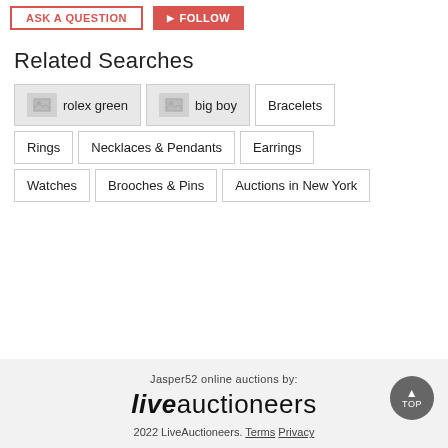[Figure (screenshot): Two buttons at top: 'ASK A QUESTION' outlined in red, and 'FOLLOW' filled red with play icon]
Related Searches
rolex green
big boy
Bracelets
Rings
Necklaces & Pendants
Earrings
Watches
Brooches & Pins
Auctions in New York
Jasper52 online auctions by: liveauctioneers 2022 LiveAuctioneers. Terms Privacy